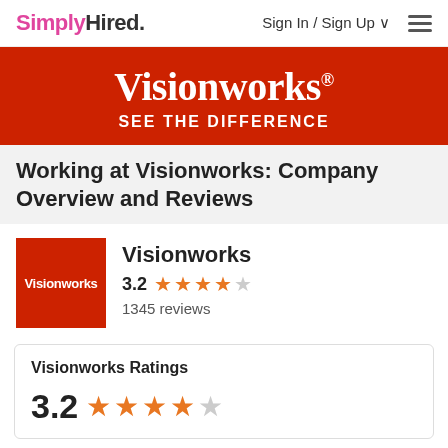SimplyHired. Sign In / Sign Up ☰
[Figure (logo): Visionworks banner with red background, large serif Visionworks text and 'SEE THE DIFFERENCE' subtitle]
Working at Visionworks: Company Overview and Reviews
Visionworks 3.2 stars 1345 reviews
Visionworks Ratings
3.2 stars